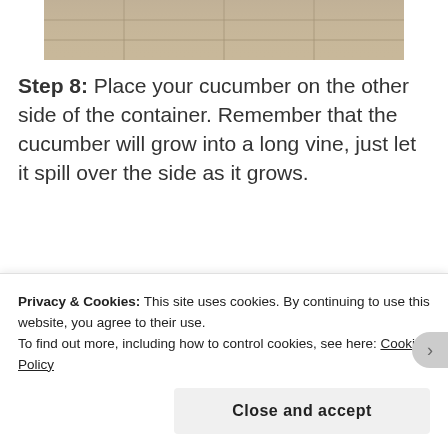[Figure (photo): Top portion of an outdoor photo showing stone pavers/tiles, cropped at the bottom of the frame]
Step 8: Place your cucumber on the other side of the container. Remember that the cucumber will grow into a long vine, just let it spill over the side as it grows.
Advertisements
[Figure (photo): WordPress.com advertisement banner: 'Simplified pricing for everything you need.' with WordPress logo on blue-to-pink gradient background]
REPORT THIS AD
[Figure (photo): Bottom portion of a photo showing hands/fingers handling a cucumber on a stone surface]
Privacy & Cookies: This site uses cookies. By continuing to use this website, you agree to their use.
To find out more, including how to control cookies, see here: Cookie Policy
Close and accept